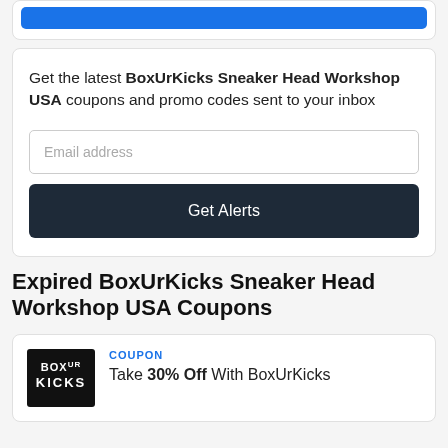[Figure (screenshot): Blue button strip at top of card]
Get the latest BoxUrKicks Sneaker Head Workshop USA coupons and promo codes sent to your inbox
Email address
Get Alerts
Expired BoxUrKicks Sneaker Head Workshop USA Coupons
COUPON
Take 30% Off With BoxUrKicks